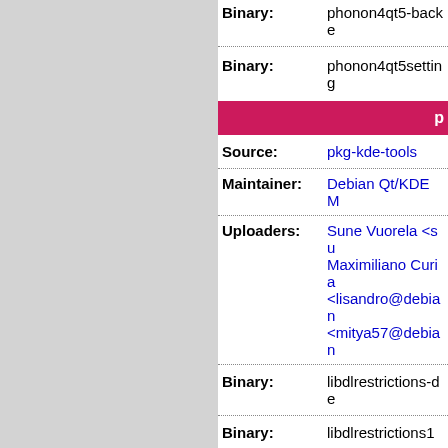| Binary: | phonon4qt5-backe |
| Binary: | phonon4qt5setting |
p
| Source: | pkg-kde-tools |
| Maintainer: | Debian Qt/KDE M |
| Uploaders: | Sune Vuorela <su
Maximiliano Curia
<lisandro@debian
<mitya57@debian |
| Binary: | libdlrestrictions-de |
| Binary: | libdlrestrictions1 |
| Binary: | pkg-kde-tools:all |